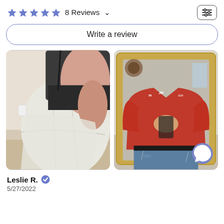8 Reviews
[Figure (screenshot): Left photo: side view of person wearing white compression garment/binder over black top. Right photo: person in red hoodie and ripped jeans taking mirror selfie.]
Leslie R. ✓
5/27/2022